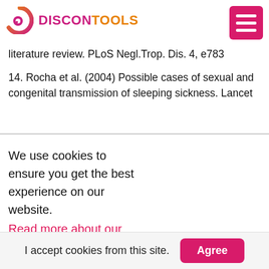DISCONTOOLS
literature review. PLoS Negl.Trop. Dis. 4, e783
14. Rocha et al. (2004) Possible cases of sexual and congenital transmission of sleeping sickness. Lancet
We use cookies to ensure you get the best experience on our website.
Read more about our policy privacy
I accept cookies from this site.